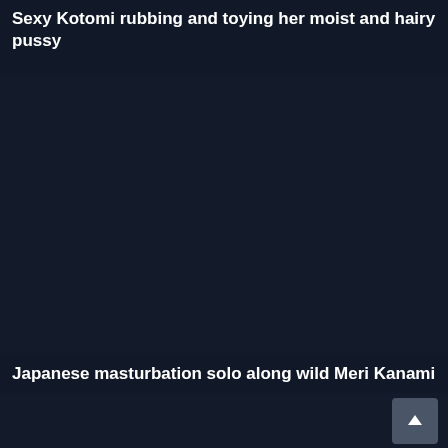Sexy Kotomi rubbing and toying her moist and hairy pussy
[Figure (screenshot): Dark video thumbnail placeholder for second video]
08:26
Japanese masturbation solo along wild Meri Kanami
[Figure (screenshot): Dark video thumbnail placeholder for third video]